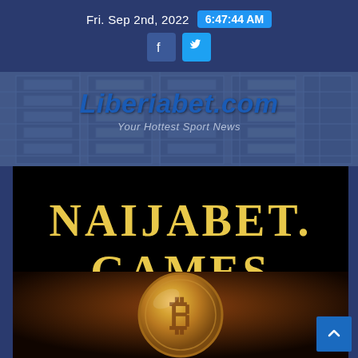Fri. Sep 2nd, 2022  6:47:44 AM
[Figure (logo): Liberiabet.com logo with tagline 'Your Hottest Sport News' overlaid on building background]
NAIJABET. GAMES
[Figure (photo): Bitcoin gold coin photographed close-up against a warm brown/orange background]